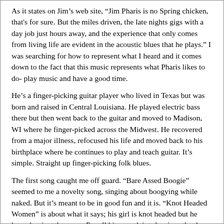As it states on Jim’s web site, “Jim Pharis is no Spring chicken, that's for sure. But the miles driven, the late nights gigs with a day job just hours away, and the experience that only comes from living life are evident in the acoustic blues that he plays.” I was searching for how to represent what I heard and it comes down to the fact that this music represents what Pharis likes to do- play music and have a good time.
He’s a finger-picking guitar player who lived in Texas but was born and raised in Central Louisiana. He played electric bass there but then went back to the guitar and moved to Madison, WI where he finger-picked across the Midwest. He recovered from a major illness, refocused his life and moved back to his birthplace where he continues to play and teach guitar. It’s simple. Straight up finger-picking folk blues.
The first song caught me off guard. “Bare Assed Boogie” seemed to me a novelty song, singing about boogying while naked. But it’s meant to be in good fun and it is. “Knot Headed Women” is about what it says; his girl is knot headed but he loves her just the same. For all his complaints he sings that he loves her just the same. “The Cure” is “an older song from 1996.” according to Jim. It is a simple yet lovely instrumental. By the fourth track I